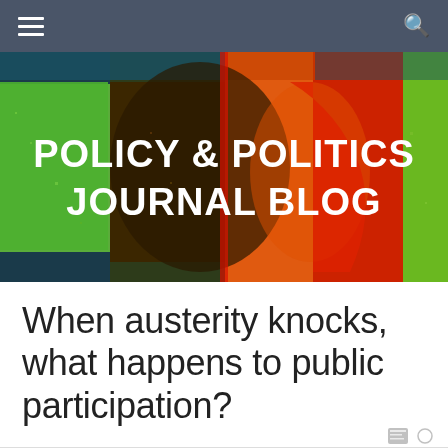Policy & Politics Journal Blog
[Figure (illustration): Colorful pop-art style banner image showing a stylized profile/silhouette of a face with vibrant color blocks (green, orange, red, blue, dark teal) overlaid with the text POLICY & POLITICS JOURNAL BLOG in white uppercase letters]
When austerity knocks, what happens to public participation?